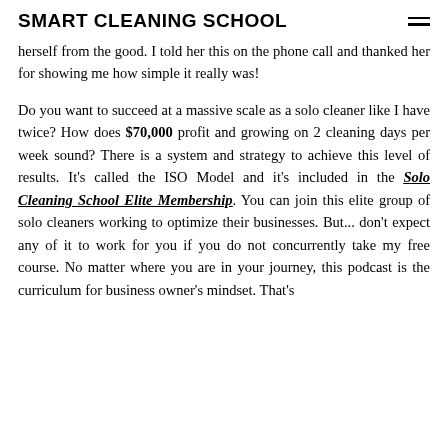SMART CLEANING SCHOOL
herself from the good. I told her this on the phone call and thanked her for showing me how simple it really was!
Do you want to succeed at a massive scale as a solo cleaner like I have twice? How does $70,000 profit and growing on 2 cleaning days per week sound? There is a system and strategy to achieve this level of results. It's called the ISO Model and it's included in the Solo Cleaning School Elite Membership. You can join this elite group of solo cleaners working to optimize their businesses. But... don't expect any of it to work for you if you do not concurrently take my free course. No matter where you are in your journey, this podcast is the curriculum for business owner's mindset. That's